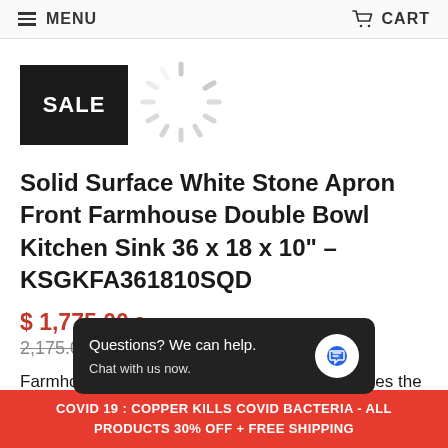MENU  CART
[Figure (illustration): SALE badge (black rectangle with white SALE text) and a loading spinner graphic]
Solid Surface White Stone Apron Front Farmhouse Double Bowl Kitchen Sink 36 x 18 x 10" – KSGKFA361810SQD
$ 1,775.00 $ 2,175.00 (strikethrough)
Farmhouse sinks have an apron front that causes the sink to be the centerpiece of kitchen
Questions? We can help. Chat with us now.
COVID 19 : COPPER KILLS COVID BACTERIA - ALL PRODUCTS 30% OFF + FREE SHIPPING